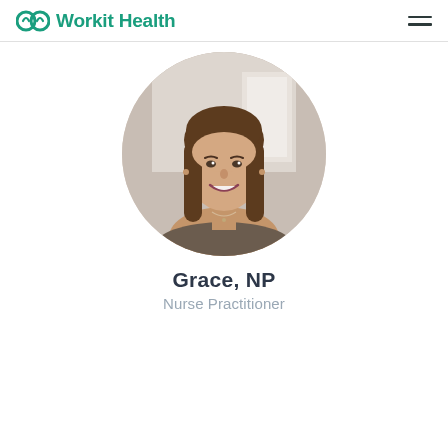Workit Health
[Figure (photo): Circular profile photo of Grace, NP — a smiling woman with long brown hair against a light indoor background]
Grace, NP
Nurse Practitioner